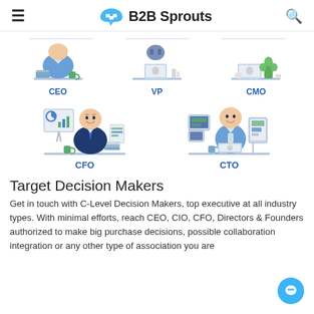B2B Sprouts
[Figure (infographic): Three business role icons in a row: CEO (shirt/desk), VP (laptop/vest), CMO (laptop/green plant). Below: CFO (man with charts) and CTO (man with computer screens). Each labeled with role title in blue.]
Target Decision Makers
Get in touch with C-Level Decision Makers, top executive at all industry types. With minimal efforts, reach CEO, CIO, CFO, Directors & Founders authorized to make big purchase decisions, possible collaboration integration or any other type of association you are